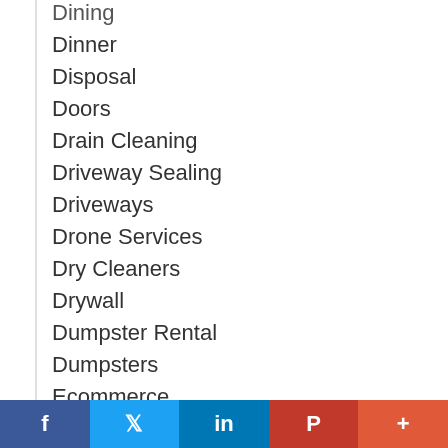Dining
Dinner
Disposal
Doors
Drain Cleaning
Driveway Sealing
Driveways
Drone Services
Dry Cleaners
Drywall
Dumpster Rental
Dumpsters
Ecommerce
Education